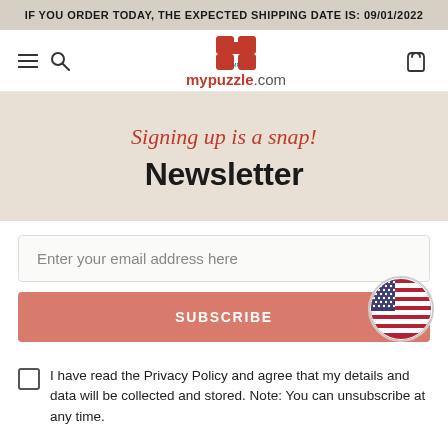IF YOU ORDER TODAY, THE EXPECTED SHIPPING DATE IS: 09/01/2022
[Figure (logo): mypuzzle.com logo with red puzzle piece icon and brand name]
Signing up is a snap! Newsletter
Enter your email address here
SUBSCRIBE
I have read the Privacy Policy and agree that my details and data will be collected and stored. Note: You can unsubscribe at any time.